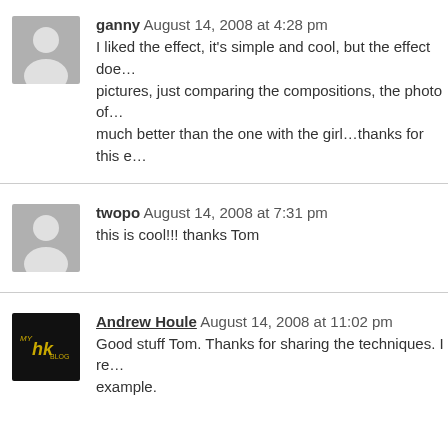ganny August 14, 2008 at 4:28 pm
I liked the effect, it's simple and cool, but the effect doe... pictures, just comparing the compositions, the photo of... much better than the one with the girl...thanks for this e...
twopo August 14, 2008 at 7:31 pm
this is cool!!! thanks Tom
Andrew Houle August 14, 2008 at 11:02 pm
Good stuff Tom. Thanks for sharing the techniques. I re... example.